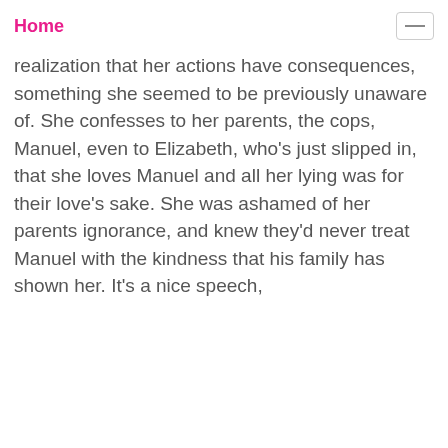Home
realization that her actions have consequences, something she seemed to be previously unaware of. She confesses to her parents, the cops, Manuel, even to Elizabeth, who's just slipped in, that she loves Manuel and all her lying was for their love's sake. She was ashamed of her parents ignorance, and knew they'd never treat Manuel with the kindness that his family has shown her. It's a nice speech,